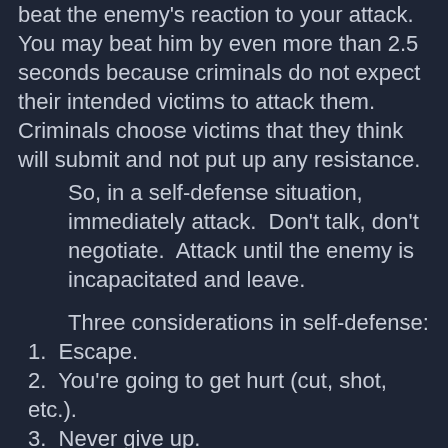beat the enemy's reaction to your attack. You may beat him by even more than 2.5 seconds because criminals do not expect their intended victims to attack them. Criminals choose victims that they think will submit and not put up any resistance.
So, in a self-defense situation, immediately attack. Don't talk, don't negotiate. Attack until the enemy is incapacitated and leave.
Three considerations in self-defense:
1. Escape.
2. You're going to get hurt (cut, shot, etc.).
3. Never give up.
Escape is always good, because you can't get hurt if you're not there. But, you may be disabled. You may have to protect someone else. So, then you need to immediately shift into self-defense mode. You're not going to fight. You're going to stop the attack immediately and leave.
The criminal uses fear of injury to control (terrorize) the victim. By accepting that you are